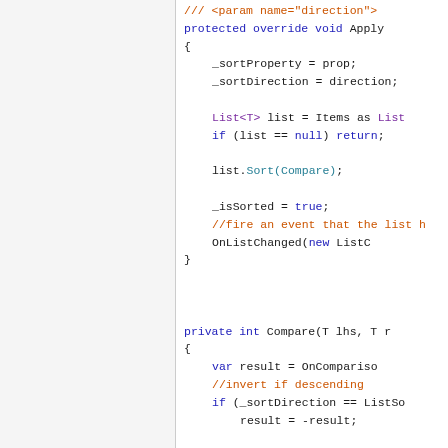[Figure (screenshot): C# source code snippet showing a sortable list implementation. Shows protected override void Apply method body with _sortProperty and _sortDirection assignments, List<T> cast, null check, list.Sort(Compare) call, _isSorted = true, OnListChanged event fire, closing brace, then private int Compare(T lhs, T ...) method with var result = OnComparison..., //invert if descending comment, if (_sortDirection == ListSo... condition, result = -result partial line.]